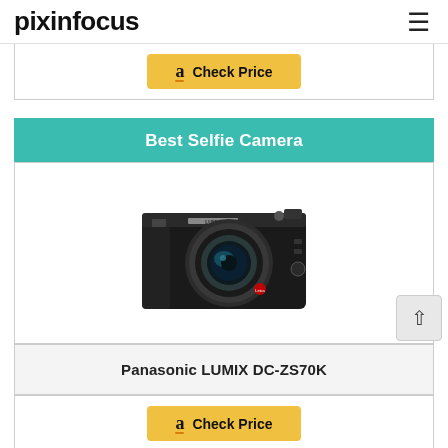pixinfocus
[Figure (other): Amazon 'Check Price' button (top)]
Best Selfie Camera
[Figure (photo): Panasonic LUMIX DC-ZS70K compact digital camera, black, with large lens]
Panasonic LUMIX DC-ZS70K
[Figure (other): Amazon 'Check Price' button (bottom)]